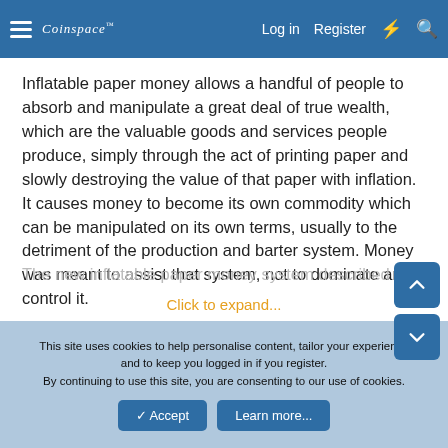Coinspace [logo] | Log in | Register
Inflatable paper money allows a handful of people to absorb and manipulate a great deal of true wealth, which are the valuable goods and services people produce, simply through the act of printing paper and slowly destroying the value of that paper with inflation. It causes money to become its own commodity which can be manipulated on its own terms, usually to the detriment of the production and barter system. Money was meant to assist that system, not to dominate and control it.
The new inflatable paper money system described
Click to expand...
This site uses cookies to help personalise content, tailor your experience and to keep you logged in if you register. By continuing to use this site, you are consenting to our use of cookies.